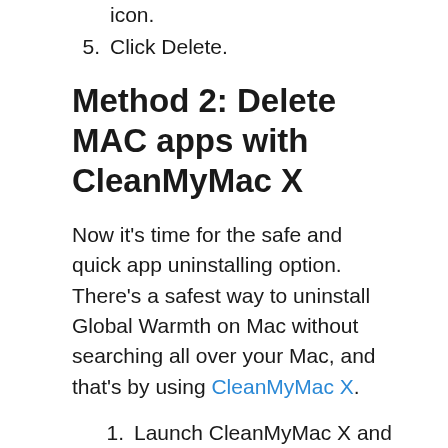icon.
5. Click Delete.
Method 2: Delete MAC apps with CleanMyMac X
Now it’s time for the safe and quick app uninstalling option. There’s a safest way to uninstall Global Warmth on Mac without searching all over your Mac, and that’s by using CleanMyMac X.
1. Launch CleanMyMac X and click on Uninstaller in the left menu.
2. Select the , you can either uninstall it or, if it’s not acting as it should, you can perform an Application Reset.
3. Click on Uninstall or on Applicati…